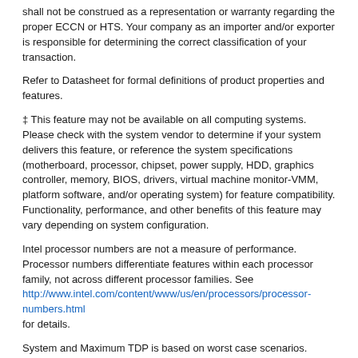shall not be construed as a representation or warranty regarding the proper ECCN or HTS. Your company as an importer and/or exporter is responsible for determining the correct classification of your transaction.
Refer to Datasheet for formal definitions of product properties and features.
‡ This feature may not be available on all computing systems. Please check with the system vendor to determine if your system delivers this feature, or reference the system specifications (motherboard, processor, chipset, power supply, HDD, graphics controller, memory, BIOS, drivers, virtual machine monitor-VMM, platform software, and/or operating system) for feature compatibility. Functionality, performance, and other benefits of this feature may vary depending on system configuration.
Intel processor numbers are not a measure of performance. Processor numbers differentiate features within each processor family, not across different processor families. See http://www.intel.com/content/www/us/en/processors/processor-numbers.html for details.
System and Maximum TDP is based on worst case scenarios. Actual TDP may be lower if not all I/Os for chipsets are used.
Max Turbo Frequency refers to the maximum single-core processor frequency that can be achieved with Intel® Turbo Boost Technology. See www.intel.com/technology/turboboost/ for more information and applicability of this technology.
See http://www.intel.com/content/www/us/en/architecture-and-technology/hyper-threading/hyper-threading-technology.html?wapkw=hyper+threading for more information including details on which processors support Intel® HT Technology.